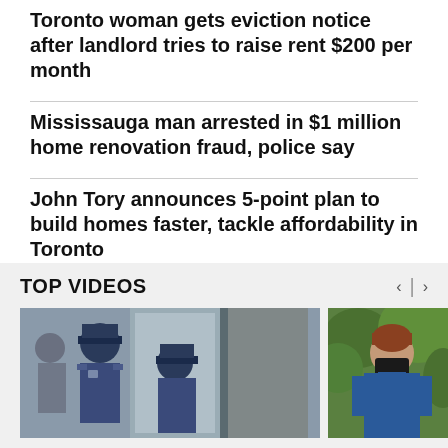Toronto woman gets eviction notice after landlord tries to raise rent $200 per month
Mississauga man arrested in $1 million home renovation fraud, police say
John Tory announces 5-point plan to build homes faster, tackle affordability in Toronto
TOP VIDEOS
[Figure (photo): Two police officers in uniform, one facing the camera, in what appears to be a transit or building entrance setting]
[Figure (photo): A man with reddish hair wearing a blue shirt and black face mask, standing outdoors near green foliage]